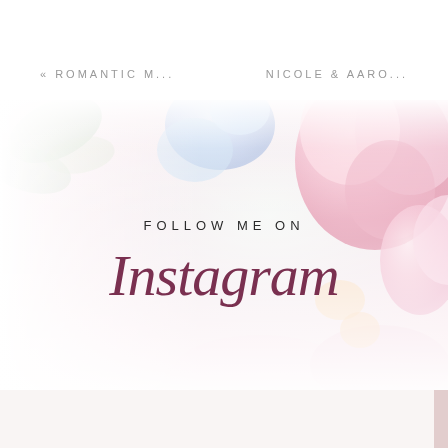« ROMANTIC M...
NICOLE & AARO...
[Figure (illustration): Decorative image with pink and blue flowers and green leaves, overlaid with text 'FOLLOW ME ON Instagram' in a script font on a white-faded floral background.]
FOLLOW ME ON